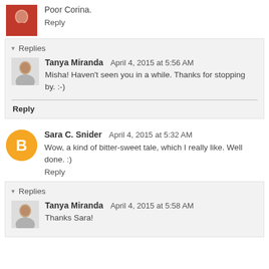[Figure (photo): Small square avatar photo of a woman in red clothing]
Poor Corina.
Reply
Replies
[Figure (photo): Small square avatar photo of Tanya Miranda]
Tanya Miranda   April 4, 2015 at 5:56 AM
Misha! Haven't seen you in a while. Thanks for stopping by. :-)
Reply
[Figure (logo): Orange circle with white Blogger B icon representing Sara C. Snider]
Sara C. Snider  April 4, 2015 at 5:32 AM
Wow, a kind of bitter-sweet tale, which I really like. Well done. :)
Reply
Replies
[Figure (photo): Small square avatar photo of Tanya Miranda]
Tanya Miranda   April 4, 2015 at 5:58 AM
Thanks Sara!